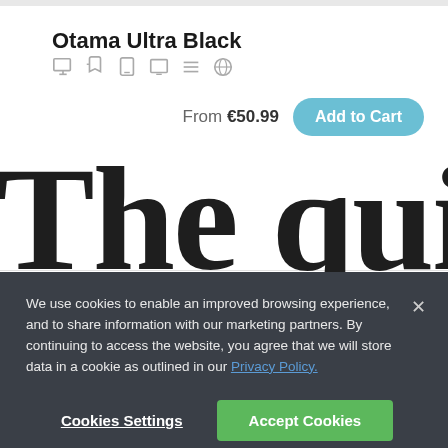Otama Ultra Black
[Figure (illustration): Row of 5 icons: desktop monitor, megaphone/announcement, tablet/book, tablet device, horizontal lines/list, globe — all in light grey]
From €50.99  Add to Cart
The quic
We use cookies to enable an improved browsing experience, and to share information with our marketing partners. By continuing to access the website, you agree that we will store data in a cookie as outlined in our Privacy Policy.
Cookies Settings  Accept Cookies